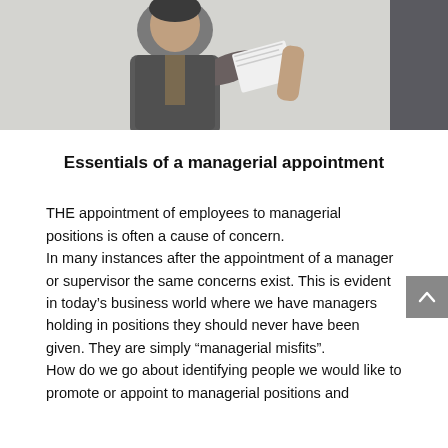[Figure (photo): Photo of a person in a grey jacket holding papers, viewed from below against a light grey background. Two figures visible.]
Essentials of a managerial appointment
THE appointment of employees to managerial positions is often a cause of concern.
In many instances after the appointment of a manager or supervisor the same concerns exist. This is evident in today's business world where we have managers holding in positions they should never have been given. They are simply “managerial misfits”.
How do we go about identifying people we would like to promote or appoint to managerial positions and